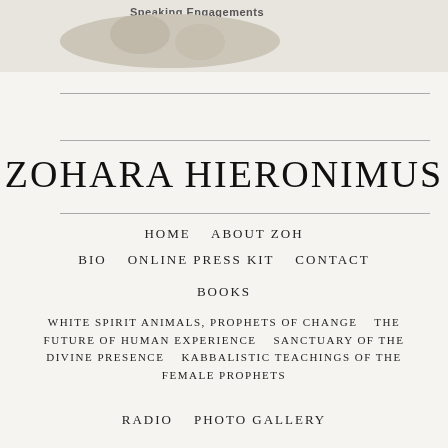[Figure (photo): Partial view of an oval/rounded image showing a person, with 'Speaking Engagements' text label visible at the top, on a light beige background.]
ZOHARA HIERONIMUS
HOME   ABOUT ZOH
BIO   ONLINE PRESS KIT   CONTACT
BOOKS
WHITE SPIRIT ANIMALS, PROPHETS OF CHANGE   THE FUTURE OF HUMAN EXPERIENCE   SANCTUARY OF THE DIVINE PRESENCE   KABBALISTIC TEACHINGS OF THE FEMALE PROPHETS
RADIO   PHOTO GALLERY